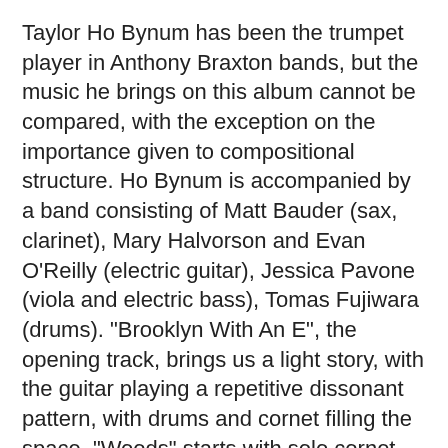Taylor Ho Bynum has been the trumpet player in Anthony Braxton bands, but the music he brings on this album cannot be compared, with the exception on the importance given to compositional structure. Ho Bynum is accompanied by a band consisting of Matt Bauder (sax, clarinet), Mary Halvorson and Evan O'Reilly (electric guitar), Jessica Pavone (viola and electric bass), Tomas Fujiwara (drums). "Brooklyn With An E", the opening track, brings us a light story, with the guitar playing a repetitive dissonant pattern, with drums and cornet filling the space. "Woods" starts with solo cornet and after about three minutes the rest of the band barges in with pointillistic notes without apparent coherence out which the viola emerges with a sad improvisation. Miles Davis' "In A Silent Way" brings a very sad consecutive sax and cornets solos on top of menacing percussion, guitar and bass. Throughout the album Taylor Ho Bynum uses many influences, but he tears them apart first, then sticks them together again like in a collage, but in an abstract manner, without recognisable figures. Each time a theme emerges, or a rhythm, or even an instrument, it is immediately replaced by something else. This offers lots of variation for sure, yet as a listener you loose every foothold